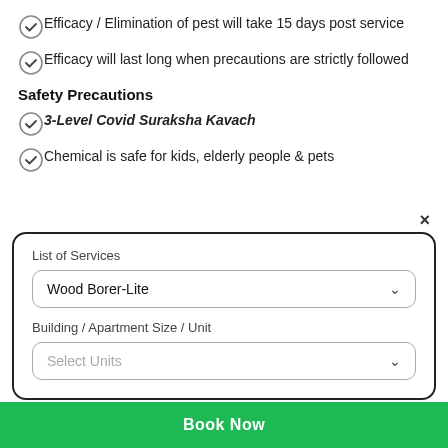Efficacy / Elimination of pest will take 15 days post service
Efficacy will last long when precautions are strictly followed
Safety Precautions
3-Level Covid Suraksha Kavach
Chemical is safe for kids, elderly people & pets
×
List of Services
Wood Borer-Lite
Building / Apartment Size / Unit
Select Units
Book Now